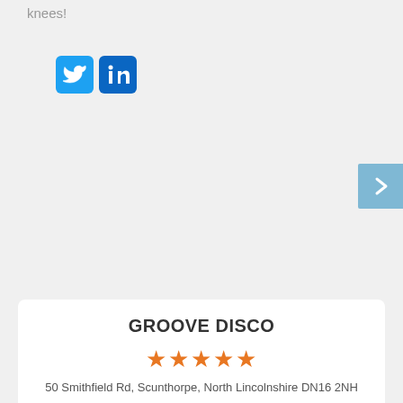knees!
[Figure (logo): Twitter and LinkedIn social media icons]
[Figure (other): Navigation next button (chevron right) on light blue background]
[Figure (other): Four pagination dots (gray circles)]
GROOVE DISCO
[Figure (other): Five orange star rating]
50 Smithfield Rd, Scunthorpe, North Lincolnshire DN16 2NH